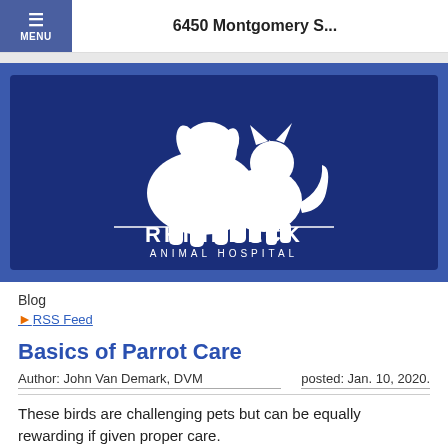MENU  6450 Montgomery S...
[Figure (logo): Rhinebeck Animal Hospital logo — white silhouettes of a dog and cat with a heart, over dark blue background, with text RHINEBECK ANIMAL HOSPITAL]
Blog
RSS Feed
Basics of Parrot Care
Author: John Van Demark, DVM    posted: Jan. 10, 2020.
These birds are challenging pets but can be equally rewarding if given proper care.